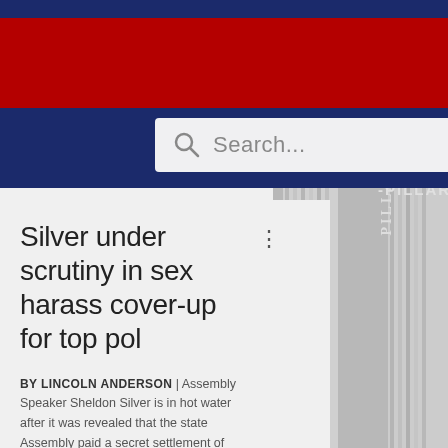[Figure (screenshot): Website header with navy top bar, red middle bar, and navy bottom bar containing a search box with magnifying glass icon and 'Search...' placeholder text. A black-and-white photo of classical stone columns is visible on the right side of the page.]
Silver under scrutiny in sex harass cover-up for top pol
BY LINCOLN ANDERSON | Assembly Speaker Sheldon Silver is in hot water after it was revealed that the state Assembly paid a secret settlement of more than $100,000 to a female intern of Brooklyn Democratic Party boss Vito